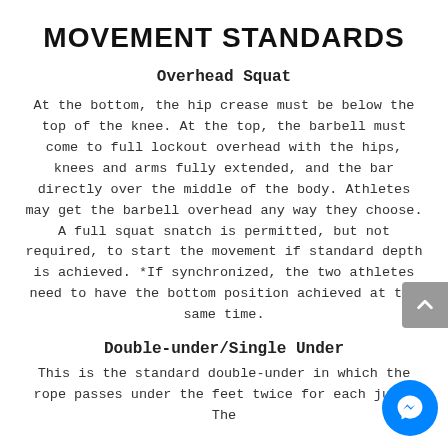MOVEMENT STANDARDS
Overhead Squat
At the bottom, the hip crease must be below the top of the knee. At the top, the barbell must come to full lockout overhead with the hips, knees and arms fully extended, and the bar directly over the middle of the body. Athletes may get the barbell overhead any way they choose. A full squat snatch is permitted, but not required, to start the movement if standard depth is achieved. *If synchronized, the two athletes need to have the bottom position achieved at the same time.
Double-under/Single Under
This is the standard double-under in which the rope passes under the feet twice for each jump. The